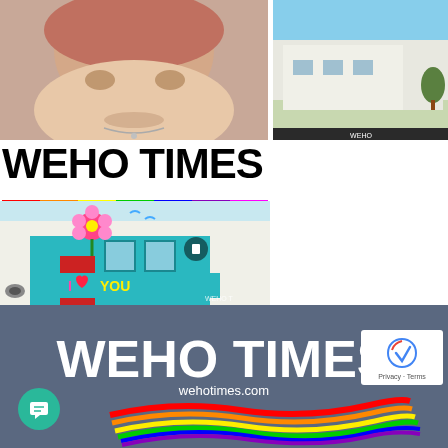[Figure (photo): Close-up photo of a person with reddish hair and necklace, top-left quadrant]
[Figure (photo): Exterior photo of a building, possibly West Hollywood city building, top-right quadrant]
WEHO TIMES
[Figure (photo): Storefront photo of a colorful teal building with flower mural and 'I LOVE YOU' signage, WeHo Times watermark visible]
[Figure (logo): WEHO TIMES logo on dark blue-gray background with rainbow wave and wehotimes.com URL]
[Figure (other): reCAPTCHA Privacy-Terms box]
[Figure (other): Green chat bubble icon]